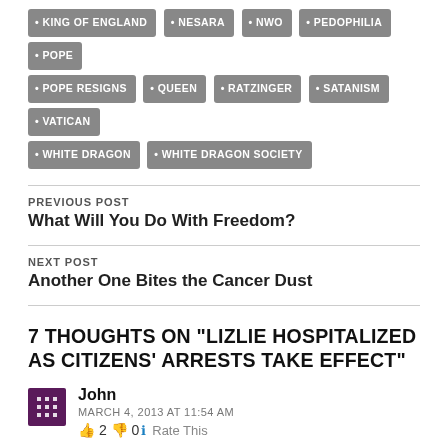KING OF ENGLAND
NESARA
NWO
PEDOPHILIA
POPE
POPE RESIGNS
QUEEN
RATZINGER
SATANISM
VATICAN
WHITE DRAGON
WHITE DRAGON SOCIETY
PREVIOUS POST
What Will You Do With Freedom?
NEXT POST
Another One Bites the Cancer Dust
7 THOUGHTS ON "LIZLIE HOSPITALIZED AS CITIZENS' ARRESTS TAKE EFFECT"
John
MARCH 4, 2013 AT 11:54 AM
👍 2 👎 0 ℹ Rate This